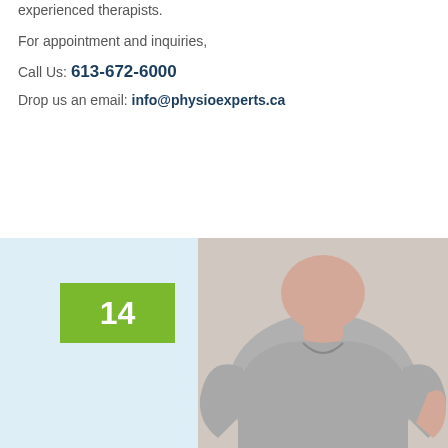experienced therapists.
For appointment and inquiries,
Call Us: 613-672-6000
Drop us an email: info@physioexperts.ca
[Figure (photo): Section showing a green numbered box with '14' and a person in a grey t-shirt, along with a review card for Physioexperts showing 5 stars from 54 reviews and a Know More button.]